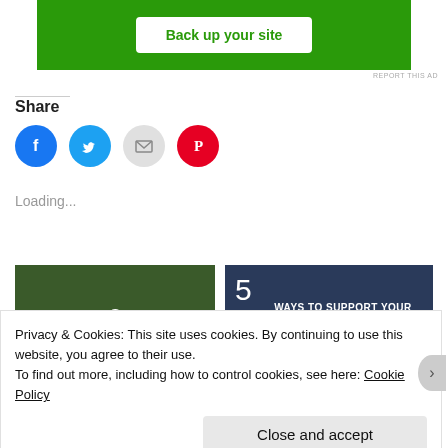[Figure (other): Green advertisement banner with 'Back up your site' button in white]
REPORT THIS AD
Share
[Figure (other): Social share icons: Facebook (blue circle), Twitter (light blue circle), Email (gray circle), Pinterest (red circle)]
Loading...
[Figure (other): Thumbnail: 6 Reasons Why The Single Life Isn't...]
[Figure (other): Thumbnail: 5 Ways To Support Your Partner's Goals]
Privacy & Cookies: This site uses cookies. By continuing to use this website, you agree to their use.
To find out more, including how to control cookies, see here: Cookie Policy
Close and accept